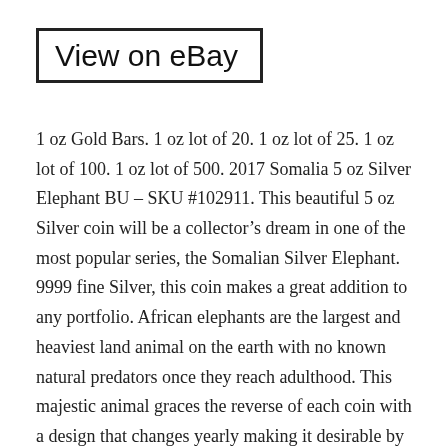View on eBay
1 oz Gold Bars. 1 oz lot of 20. 1 oz lot of 25. 1 oz lot of 100. 1 oz lot of 500. 2017 Somalia 5 oz Silver Elephant BU – SKU #102911. This beautiful 5 oz Silver coin will be a collector’s dream in one of the most popular series, the Somalian Silver Elephant. 9999 fine Silver, this coin makes a great addition to any portfolio. African elephants are the largest and heaviest land animal on the earth with no known natural predators once they reach adulthood. This majestic animal graces the reverse of each coin with a design that changes yearly making it desirable by both collectors and investors. Contains 5 oz of. Multiples of 100 are packaged in Monster Boxes. All other coins will be in protective plastic. Obverse: Displays